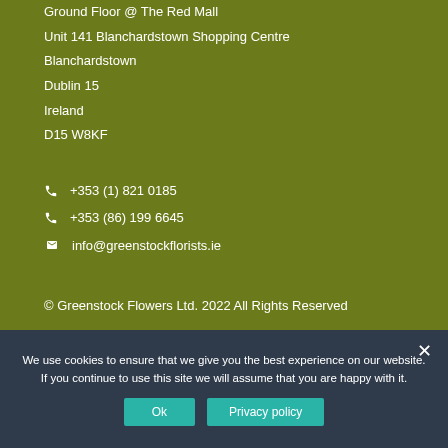Ground Floor @ The Red Mall
Unit 141 Blanchardstown Shopping Centre
Blanchardstown
Dublin 15
Ireland
D15 W8KF
+353 (1) 821 0185
+353 (86) 199 6645
info@greenstockflorists.ie
© Greenstock Flowers Ltd. 2022 All Rights Reserved
We use cookies to ensure that we give you the best experience on our website. If you continue to use this site we will assume that you are happy with it.
Ok  Privacy policy